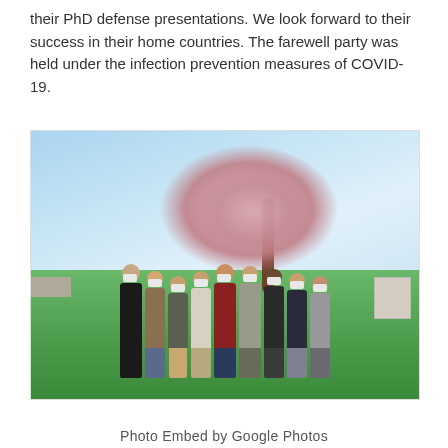their PhD defense presentations. We look forward to their success in their home countries. The farewell party was held under the infection prevention measures of COVID-19.
[Figure (photo): Group photo of approximately 9 people wearing masks standing outdoors on a grass lawn with cherry blossom trees in the background and a blue sky. The farewell party photo taken under COVID-19 infection prevention measures.]
Photo Embed by Google Photos